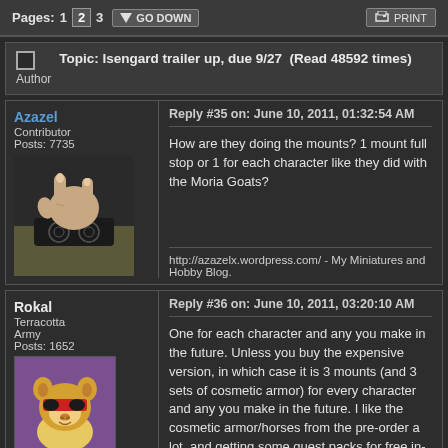Pages: 1 [2] 3  GO DOWN  PRINT
Topic: Isengard trailer up, due 9/27  (Read 48592 times)
Author
Azazel
Contributor
Posts: 7735
Reply #35 on: June 10, 2011, 01:32:54 AM
How are they doing the mounts? 1 mount full stop or 1 for each character like they did with the Moria Goats?
http://azazelx.wordpress.com/ - My Miniatures and Hobby Blog.
Rokal
Terracotta Army
Posts: 1652
Reply #36 on: June 10, 2011, 03:20:10 AM
One for each character and any you make in the future. Unless you buy the expensive version, in which case it is 3 mounts (and 3 sets of cosmetic armor) for every character and any you make in the future. I like the cosmetic armor/horses from the pre-order a lot, and getting some quest packs for free in-case I ever go premium was a nice bonus. I haven't